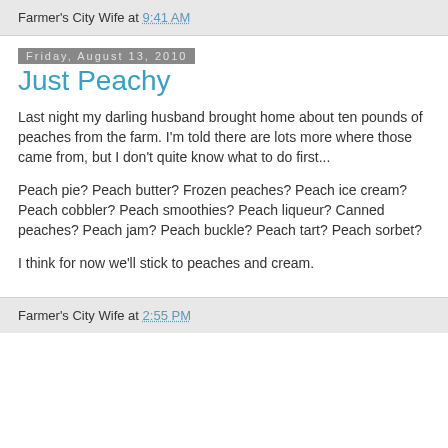Farmer's City Wife at 9:41 AM
Friday, August 13, 2010
Just Peachy
Last night my darling husband brought home about ten pounds of peaches from the farm. I'm told there are lots more where those came from, but I don't quite know what to do first...
Peach pie? Peach butter? Frozen peaches? Peach ice cream? Peach cobbler? Peach smoothies? Peach liqueur? Canned peaches? Peach jam? Peach buckle? Peach tart? Peach sorbet?
I think for now we'll stick to peaches and cream.
Farmer's City Wife at 2:55 PM